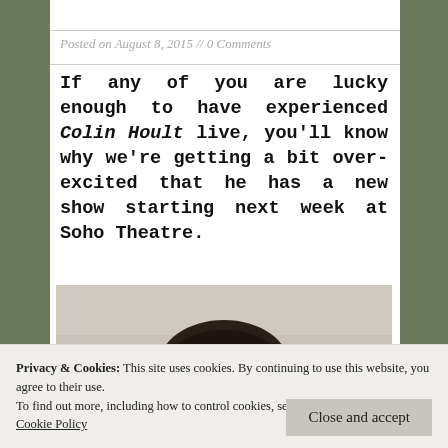Posted on August 8, 2015 // 0 Comments
If any of you are lucky enough to have experienced Colin Hoult live, you’ll know why we’re getting a bit over-excited that he has a new show starting next week at Soho Theatre.
[Figure (photo): Close-up photo of a man (Colin Hoult) with dark hair, looking up at the camera, against a light background]
Privacy & Cookies: This site uses cookies. By continuing to use this website, you agree to their use.
To find out more, including how to control cookies, see here: Cookie Policy
Close and accept